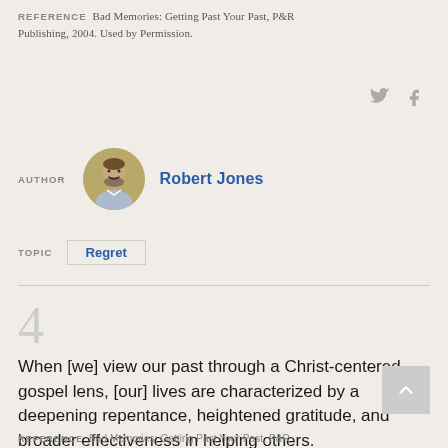REFERENCE  Bad Memories: Getting Past Your Past, P&R Publishing, 2004. Used by Permission.
AUTHOR  Robert Jones
TOPIC  Regret
4
When [we] view our past through a Christ-centered, gospel lens, [our] lives are characterized by a deepening repentance, heightened gratitude, and broader effectiveness in helping others.
REFERENCE  Bad Memories: Getting Past Your Past, P&R